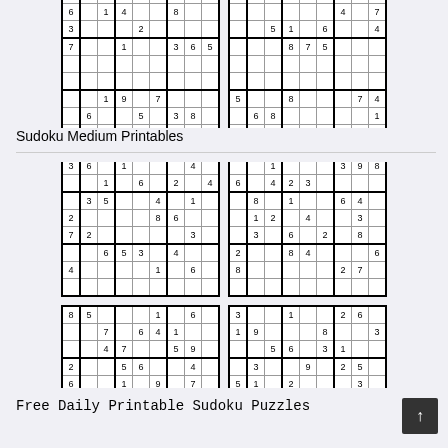[Figure (other): Partial view of two sudoku puzzle grids at top of page, showing numbers in a 9x9 grid format]
Sudoku Medium Printables
[Figure (other): Two rows of sudoku puzzle grids - top row shows two medium sudoku puzzles, bottom row shows two more sudoku puzzles partially visible]
Free Daily Printable Sudoku Puzzles